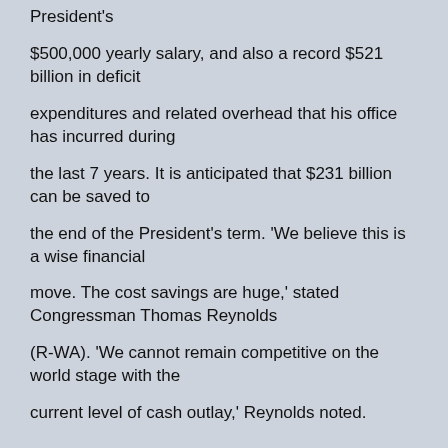President's
$500,000 yearly salary, and also a record $521 billion in deficit
expenditures and related overhead that his office has incurred during
the last 7 years. It is anticipated that $231 billion can be saved to
the end of the President's term. 'We believe this is a wise financial
move. The cost savings are huge,' stated Congressman Thomas Reynolds
(R-WA). 'We cannot remain competitive on the world stage with the
current level of cash outlay,' Reynolds noted.
Mr. Bush was informed by e-mail this morning of his termination.
Preparations for the job move have been underway for some time.